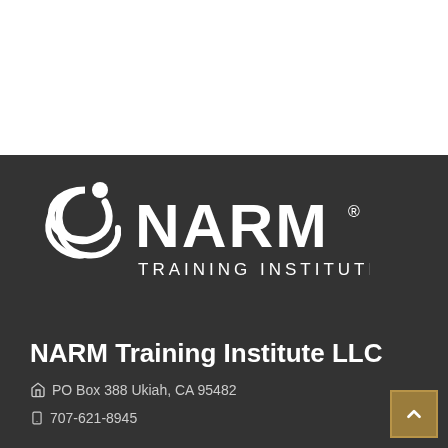[Figure (logo): NARM Training Institute logo — white circular swoosh figure with a dot above it, followed by bold white text 'NARM' with registered trademark symbol, and below 'TRAINING INSTITUTE', all on dark gray background]
NARM Training Institute LLC
PO Box 388 Ukiah, CA 95482
707-621-8945